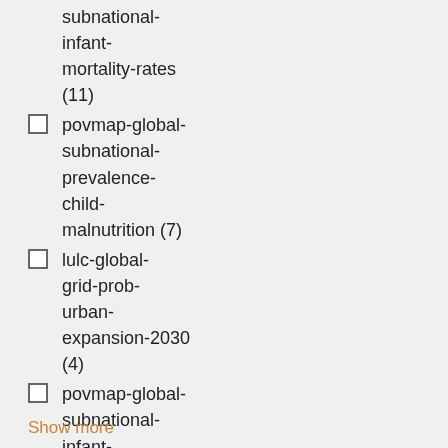subnational-infant-mortality-rates (11)
povmap-global-subnational-prevalence-child-malnutrition (7)
lulc-global-grid-prob-urban-expansion-2030 (4)
povmap-global-subnational-infant-mortality-rates-v2 (4)
Show more